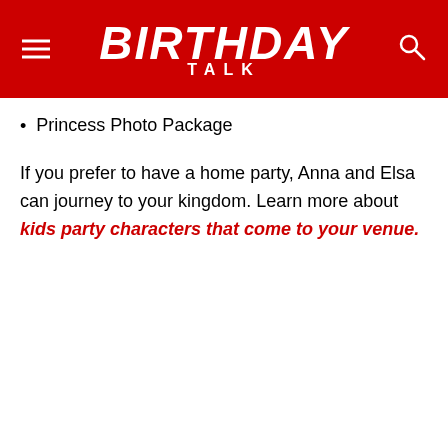BIRTHDAY TALK
Princess Photo Package
If you prefer to have a home party, Anna and Elsa can journey to your kingdom. Learn more about kids party characters that come to your venue.